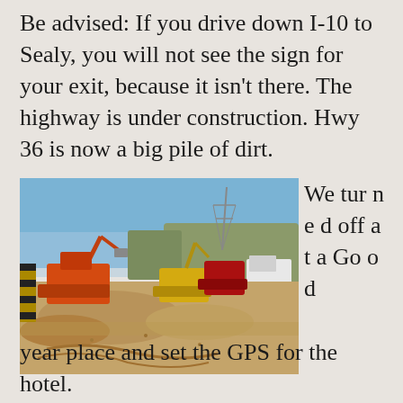Be advised: If you drive down I-10 to Sealy, you will not see the sign for your exit, because it isn't there. The highway is under construction. Hwy 36 is now a big pile of dirt.
[Figure (photo): Construction site photo showing heavy machinery including orange and yellow excavators/diggers working on a road under construction, with dirt mounds and trees in the background under a blue sky.]
We turned off at a Goodyear place and set the GPS for the hotel.